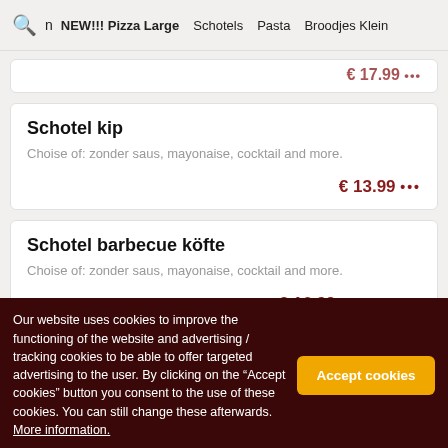NEW!!! Pizza Large  Schotels  Pasta  Broodjes Klein
€ 17.99 (partial, previous item price)
Schotel kip
Choise of: zonder saus, mayonaise, cocktail and more.
€ 13.99 •••
Schotel barbecue köfte
Choise of: zonder saus, mayonaise, cocktail and more.
€ 16.99 •••
Our website uses cookies to improve the functioning of the website and advertising / tracking cookies to be able to offer targeted advertising to the user. By clicking on the "Accept cookies" button you consent to the use of these cookies. You can still change these afterwards. More information.